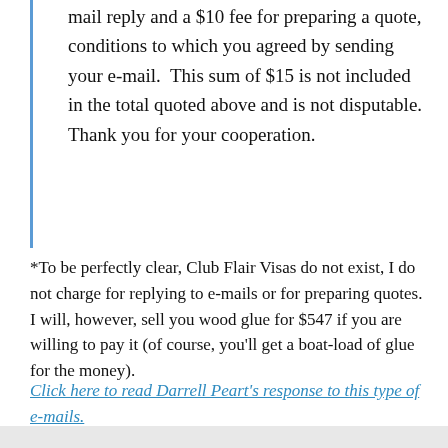mail reply and a $10 fee for preparing a quote, conditions to which you agreed by sending your e-mail.  This sum of $15 is not included in the total quoted above and is not disputable.  Thank you for your cooperation.
*To be perfectly clear, Club Flair Visas do not exist, I do not charge for replying to e-mails or for preparing quotes.  I will, however, sell you wood glue for $547 if you are willing to pay it (of course, you'll get a boat-load of glue for the money).
Click here to read Darrell Peart's response to this type of e-mails.